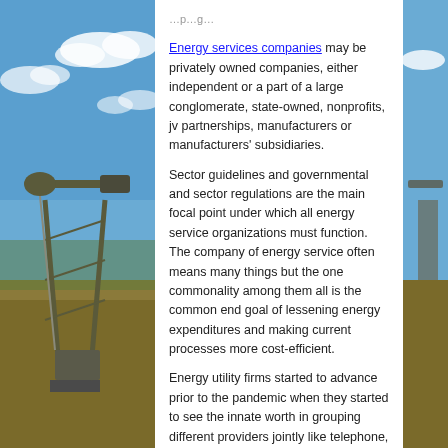[Figure (photo): Background photo of oil pump jacks in a field under a blue sky with clouds, shown on the left and right sides of the page behind the white content panel.]
Energy services companies may be privately owned companies, either independent or a part of a large conglomerate, state-owned, nonprofits, jv partnerships, manufacturers or manufacturers' subsidiaries.
Sector guidelines and governmental and sector regulations are the main focal point under which all energy service organizations must function. The company of energy service often means many things but the one commonality among them all is the common end goal of lessening energy expenditures and making current processes more cost-efficient.
Energy utility firms started to advance prior to the pandemic when they started to see the innate worth in grouping different providers jointly like telephone, internet and TV. But soon they started to see—utility firm...